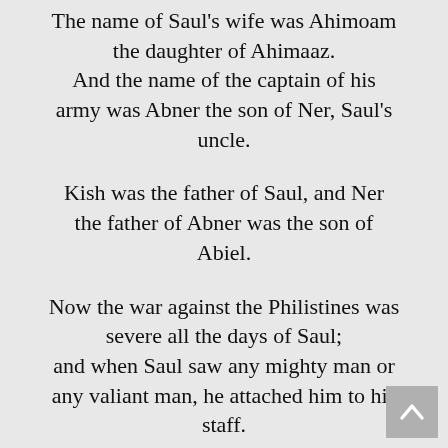The name of Saul's wife was Ahimoam the daughter of Ahimaaz. And the name of the captain of his army was Abner the son of Ner, Saul's uncle.
Kish was the father of Saul, and Ner the father of Abner was the son of Abiel.
Now the war against the Philistines was severe all the days of Saul; and when Saul saw any mighty man or any valiant man, he attached him to his staff.